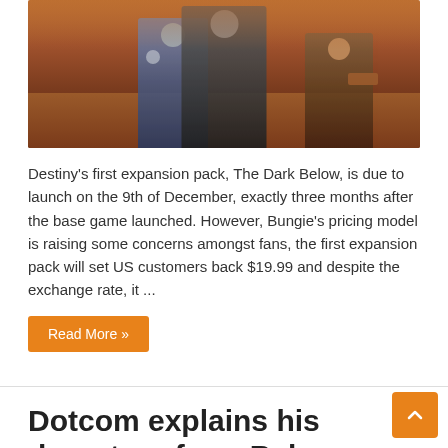[Figure (photo): Screenshot from Destiny video game showing three armored sci-fi soldiers/guardians in front of a reddish rocky Mars-like environment.]
Destiny's first expansion pack, The Dark Below, is due to launch on the 9th of December, exactly three months after the base game launched. However, Bungie's pricing model is raising some concerns amongst fans, the first expansion pack will set US customers back $19.99 and despite the exchange rate, it ...
Read More »
Dotcom explains his departure from Baboom, Internet Party
October 7, 2014    Channel
[Figure (photo): Partial view of an image with blue tones, appears to be the beginning of an article image related to Dotcom.]